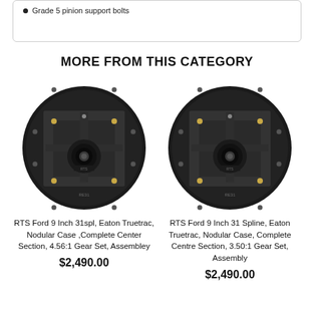Grade 5 pinion support bolts
MORE FROM THIS CATEGORY
[Figure (photo): RTS Ford 9 Inch 31spl differential center section, black cast iron, front view showing pinion and mounting holes]
RTS Ford 9 Inch 31spl, Eaton Truetrac, Nodular Case ,Complete Center Section, 4.56:1 Gear Set, Assembley
$2,490.00
[Figure (photo): RTS Ford 9 Inch 31 Spline differential center section, black cast iron, front view showing pinion and mounting holes]
RTS Ford 9 Inch 31 Spline, Eaton Truetrac, Nodular Case, Complete Centre Section, 3.50:1 Gear Set, Assembly
$2,490.00